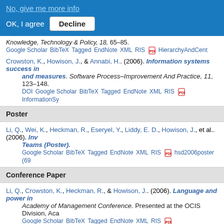No, give me more info
OK, I agree  Decline
Knowledge, Technology & Policy, 18, 65–85.
Google Scholar BibTeX Tagged EndNote XML RIS HierarchyAndCent
Crowston, K., Howison, J., & Annabi, H.. (2006). Information systems success in free and open source software development: Theory and measures. Software Process–Improvement And Practice, 11, 123–148.
DOI Google Scholar BibTeX Tagged EndNote XML RIS InformationSy
Poster
Li, Q., Wei, K., Heckman, R., Eseryel, Y., Liddy, E. D., Howison, J., et al.. (2006). Invisible Handshakes in Virtual Teams (Poster).
Google Scholar BibTeX Tagged EndNote XML RIS hsd2006poster (69
Conference Paper
Li, Q., Crowston, K., Heckman, R., & Howison, J.. (2006). Language and power in Academy of Management Conference. Presented at the OCIS Division, Aca
Google Scholar BibTeX Tagged EndNote XML RIS LanguageAndPowe
« first ‹ previous ... 3 4 5 6 7 8 9